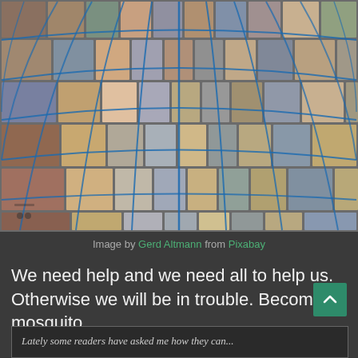[Figure (photo): A globe-shaped collage of hundreds of diverse human faces from various ethnicities, ages, and backgrounds, arranged in a spherical grid pattern with blue lines, on a dark background.]
Image by Gerd Altmann from Pixabay
We need help and we need all to help us. Otherwise we will be in trouble. Become a mosquito.
Lately some readers have asked me how they can...